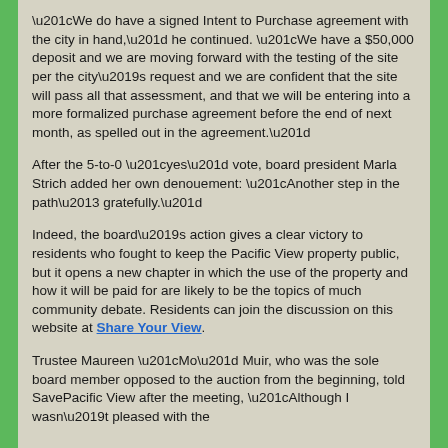“We do have a signed Intent to Purchase agreement with the city in hand,” he continued. “We have a $50,000 deposit and we are moving forward with the testing of the site per the city’s request and we are confident that the site will pass all that assessment, and that we will be entering into a more formalized purchase agreement before the end of next month, as spelled out in the agreement.”
After the 5-to-0 “yes” vote, board president Marla Strich added her own denouement: “Another step in the path– gratefully.”
Indeed, the board’s action gives a clear victory to residents who fought to keep the Pacific View property public, but it opens a new chapter in which the use of the property and how it will be paid for are likely to be the topics of much community debate. Residents can join the discussion on this website at Share Your View.
Trustee Maureen “Mo” Muir, who was the sole board member opposed to the auction from the beginning, told SavePacific View after the meeting, “Although I wasn’t pleased with the